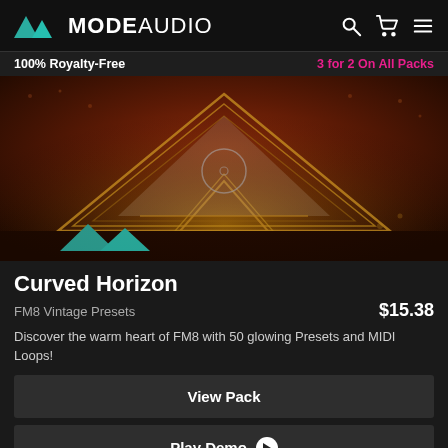MODE AUDIO
100% Royalty-Free    3 for 2 On All Packs
[Figure (photo): Product artwork for Curved Horizon FM8 Vintage Presets pack. Dark reddish-brown abstract textured background with golden glowing triangular geometric shapes in the center and teal/green ModeAudio logo mountains in the lower left.]
Curved Horizon
FM8 Vintage Presets
$15.38
Discover the warm heart of FM8 with 50 glowing Presets and MIDI Loops!
View Pack
Play Demo